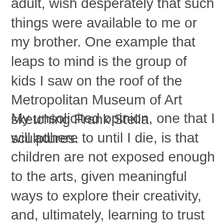adult, wish desperately that such things were available to me or my brother. One example that leaps to mind is the group of kids I saw on the roof of the Metropolitan Museum of Art sketching Frank Stella sculptures.
My unsolicited opinion, one that I will adhere to until I die, is that children are not exposed enough to the arts, given meaningful ways to explore their creativity, and, ultimately, learning to trust their bodies and their ideas. While living in New york city is certainly not a prerequisite for that, neither